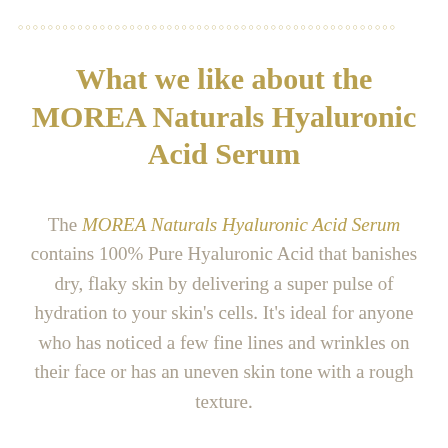○○○○○○○○○○○○○○○○○○○○○○○○○○○○○○○○○○○○○○○○○○○○○○○○○○
What we like about the MOREA Naturals Hyaluronic Acid Serum
The MOREA Naturals Hyaluronic Acid Serum contains 100% Pure Hyaluronic Acid that banishes dry, flaky skin by delivering a super pulse of hydration to your skin's cells. It's ideal for anyone who has noticed a few fine lines and wrinkles on their face or has an uneven skin tone with a rough texture.